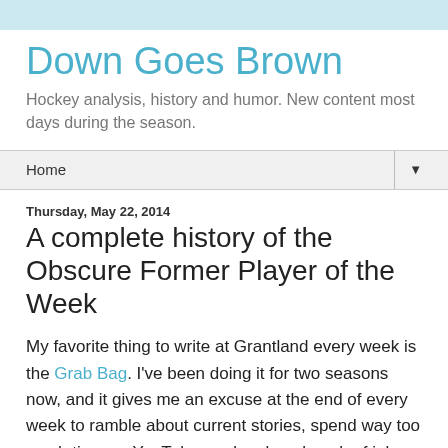Down Goes Brown
Hockey analysis, history and humor. New content most days during the season.
Home
Thursday, May 22, 2014
A complete history of the Obscure Former Player of the Week
My favorite thing to write at Grantland every week is the Grab Bag. I've been doing it for two seasons now, and it gives me an excuse at the end of every week to ramble about current stories, spend way too much time on YouTube, and make a bunch of jokes about stuff that happened 25 years ago that nobody will get.
One of my sections is the Obscure Former Player of the Week. So I pretty excited to get an email from a reader this